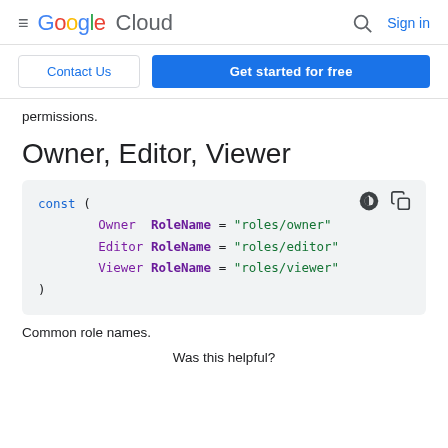Google Cloud | Sign in
Contact Us | Get started for free
permissions.
Owner, Editor, Viewer
[Figure (screenshot): Code block showing Go constants: const ( Owner RoleName = "roles/owner" Editor RoleName = "roles/editor" Viewer RoleName = "roles/viewer" )]
Common role names.
Was this helpful?